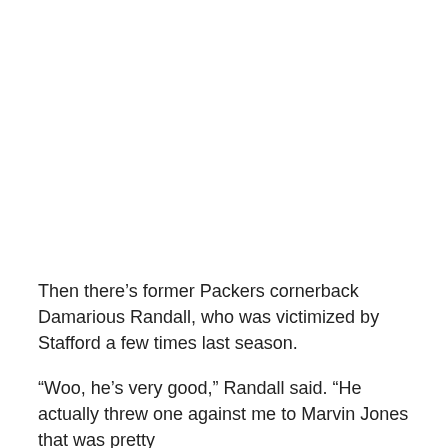Then there’s former Packers cornerback Damarious Randall, who was victimized by Stafford a few times last season.
“Woo, he’s very good,” Randall said. “He actually threw one against me to Marvin Jones that was pretty